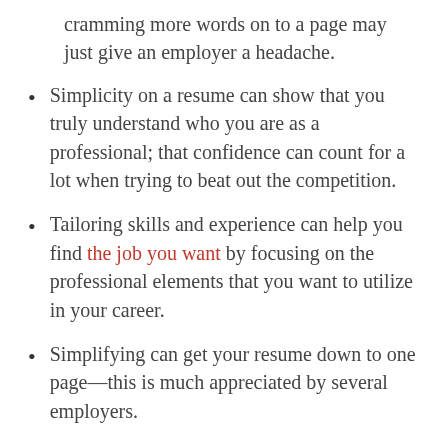cramming more words on to a page may just give an employer a headache.
Simplicity on a resume can show that you truly understand who you are as a professional; that confidence can count for a lot when trying to beat out the competition.
Tailoring skills and experience can help you find the job you want by focusing on the professional elements that you want to utilize in your career.
Simplifying can get your resume down to one page—this is much appreciated by several employers.
Tips for Simplifying Your Resume